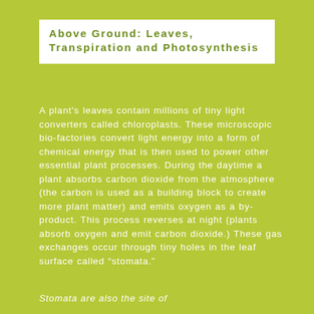Above Ground: Leaves, Transpiration and Photosynthesis
A plant's leaves contain millions of tiny light converters called chloroplasts. These microscopic bio-factories convert light energy into a form of chemical energy that is then used to power other essential plant processes. During the daytime a plant absorbs carbon dioxide from the atmosphere (the carbon is used as a building block to create more plant matter) and emits oxygen as a by-product. This process reverses at night (plants absorb oxygen and emit carbon dioxide.) These gas exchanges occur through tiny holes in the leaf surface called "stomata."
Stomata are also the site of